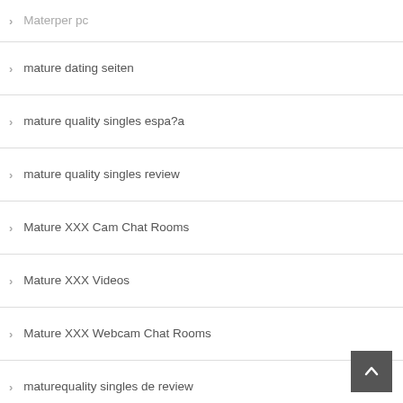Materper pc
mature dating seiten
mature quality singles espa?a
mature quality singles review
Mature XXX Cam Chat Rooms
Mature XXX Videos
Mature XXX Webcam Chat Rooms
maturequality singles de review
maximus money loans payday loan online
maximus money loans paydayloan